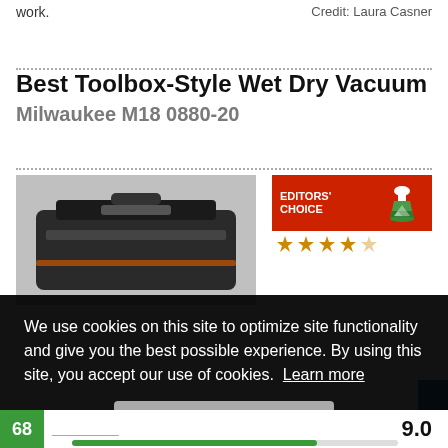work.
Credit: Laura Casner
Best Toolbox-Style Wet Dry Vacuum
Milwaukee M18 0880-20
[Figure (photo): Photo of Milwaukee M18 0880-20 toolbox-style wet dry vacuum, dark grey/black unit]
[Figure (logo): Editors' Choice badge with flask icon and star rating]
We use cookies on this site to optimize site functionality and give you the best possible experience. By using this site, you accept our use of cookies. Learn more
Got it!
68
9.0